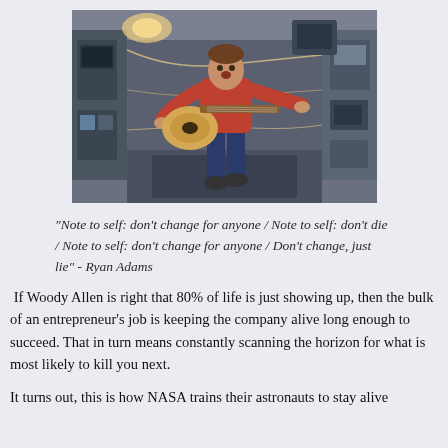[Figure (photo): An astronaut floating inside the International Space Station wearing a red shirt and blue jeans, playing an acoustic guitar, surrounded by equipment and hardware of the space station interior.]
“Note to self: don't change for anyone / Note to self: don't die / Note to self: don't change for anyone / Don't change, just lie” - Ryan Adams
If Woody Allen is right that 80% of life is just showing up, then the bulk of an entrepreneur’s job is keeping the company alive long enough to succeed. That in turn means constantly scanning the horizon for what is most likely to kill you next.
It turns out, this is how NASA trains their astronauts to stay alive